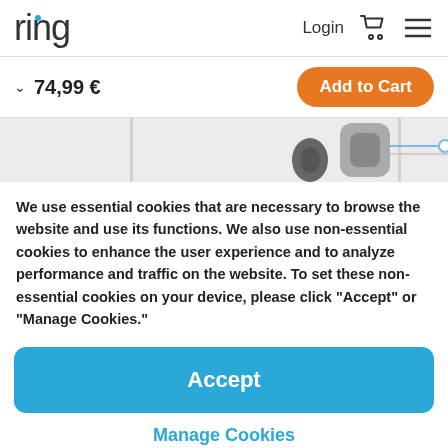ring  Login  [cart icon]  [menu icon]
v  74,99 €  Add to Cart
[Figure (photo): Product image strip showing a Ring doorbell device in partial view against a light background]
We use essential cookies that are necessary to browse the website and use its functions. We also use non-essential cookies to enhance the user experience and to analyze performance and traffic on the website. To set these non-essential cookies on your device, please click “Accept” or “Manage Cookies.”
Accept
Manage Cookies